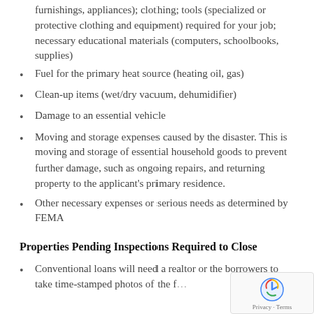furnishings, appliances); clothing; tools (specialized or protective clothing and equipment) required for your job; necessary educational materials (computers, schoolbooks, supplies)
Fuel for the primary heat source (heating oil, gas)
Clean-up items (wet/dry vacuum, dehumidifier)
Damage to an essential vehicle
Moving and storage expenses caused by the disaster. This is moving and storage of essential household goods to prevent further damage, such as ongoing repairs, and returning property to the applicant’s primary residence.
Other necessary expenses or serious needs as determined by FEMA
Properties Pending Inspections Required to Close
Conventional loans will need a realtor or the borrowers to take time-stamped photos of the f…